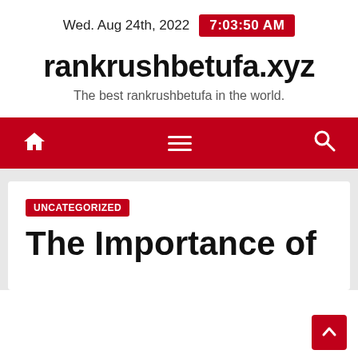Wed. Aug 24th, 2022  7:03:50 AM
rankrushbetufa.xyz
The best rankrushbetufa in the world.
[Figure (screenshot): Red navigation bar with home icon, hamburger menu icon, and search icon]
UNCATEGORIZED
The Importance of